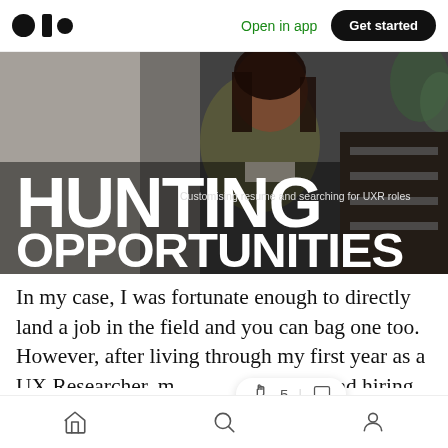Open in app  |  Get started
[Figure (photo): Hero image banner showing a smiling woman in a gray sweater in an office setting, with large bold white text overlaid reading 'HUNTING OPPORTUNITIES' and subtitle 'Customising resume and searching for UXR roles']
In my case, I was fortunate enough to directly land a job in the field and you can bag one too. However, after living through my first year as a UX Researcher, m sessions, and hiring UX Researchers, my experience suggests
Home  Search  Profile